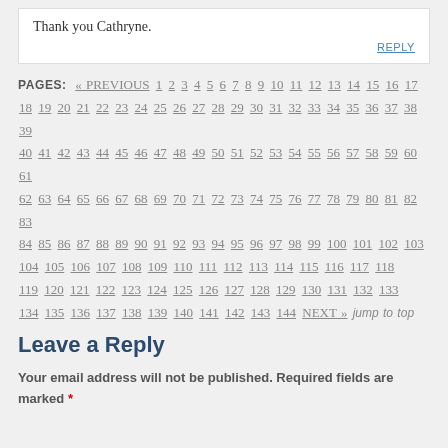Thank you Cathryne.
REPLY
PAGES: « PREVIOUS 1 2 3 4 5 6 7 8 9 10 11 12 13 14 15 16 17 18 19 20 21 22 23 24 25 26 27 28 29 30 31 32 33 34 35 36 37 38 39 40 41 42 43 44 45 46 47 48 49 50 51 52 53 54 55 56 57 58 59 60 61 62 63 64 65 66 67 68 69 70 71 72 73 74 75 76 77 78 79 80 81 82 83 84 85 86 87 88 89 90 91 92 93 94 95 96 97 98 99 100 101 102 103 104 105 106 107 108 109 110 111 112 113 114 115 116 117 118 119 120 121 122 123 124 125 126 127 128 129 130 131 132 133 134 135 136 137 138 139 140 141 142 143 144 NEXT » jump to top
Leave a Reply
Your email address will not be published. Required fields are marked *